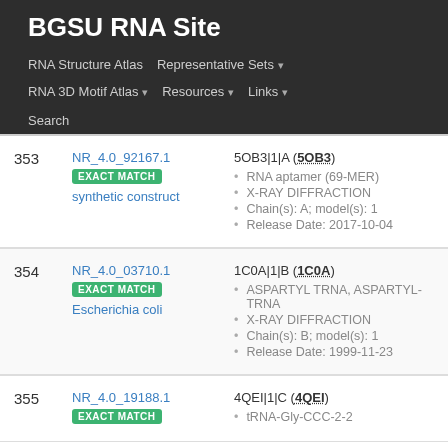BGSU RNA Site
RNA Structure Atlas | Representative Sets ▾ | RNA 3D Motif Atlas ▾ | Resources ▾ | Links ▾ | Search
| # | ID | Info |
| --- | --- | --- |
| 353 | NR_4.0_92167.1 EXACT MATCH synthetic construct | 5OB3|1|A (5OB3)
• RNA aptamer (69-MER)
• X-RAY DIFFRACTION
• Chain(s): A; model(s): 1
• Release Date: 2017-10-04 |
| 354 | NR_4.0_03710.1 EXACT MATCH Escherichia coli | 1C0A|1|B (1C0A)
• ASPARTYL TRNA, ASPARTYL-TRNA
• X-RAY DIFFRACTION
• Chain(s): B; model(s): 1
• Release Date: 1999-11-23 |
| 355 | NR_4.0_19188.1 EXACT MATCH | 4QEI|1|C (4QEI)
• tRNA-Gly-CCC-2-2 |